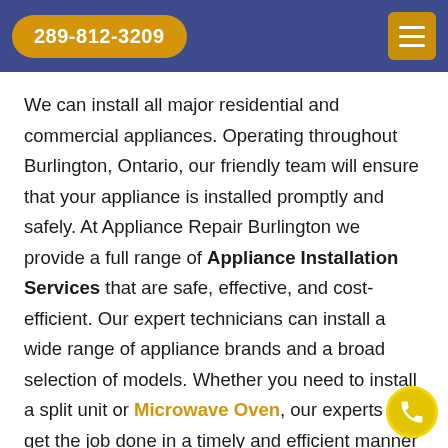289-812-3209
We can install all major residential and commercial appliances. Operating throughout Burlington, Ontario, our friendly team will ensure that your appliance is installed promptly and safely. At Appliance Repair Burlington we provide a full range of Appliance Installation Services that are safe, effective, and cost-efficient. Our expert technicians can install a wide range of appliance brands and a broad selection of models. Whether you need to install a split unit or Microwave Oven, our experts can get the job done in a timely and efficient manner using the latest tools and technologi…